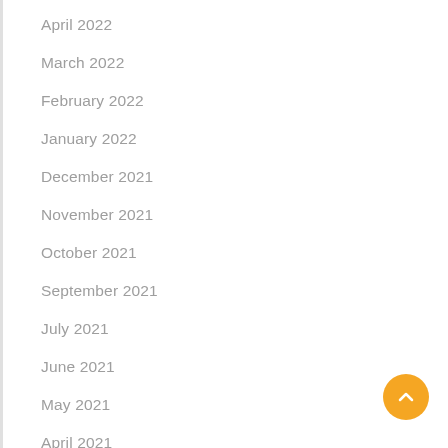April 2022
March 2022
February 2022
January 2022
December 2021
November 2021
October 2021
September 2021
July 2021
June 2021
May 2021
April 2021
March 2021
February 2021